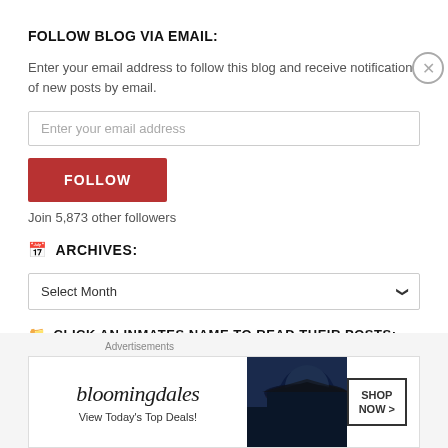FOLLOW BLOG VIA EMAIL:
Enter your email address to follow this blog and receive notifications of new posts by email.
Enter your email address
FOLLOW
Join 5,873 other followers
ARCHIVES:
Select Month
CLICK AN INMATES NAME TO READ THEIR POSTS:
[Figure (other): Bloomingdale's advertisement banner showing logo, 'View Today's Top Deals!' tagline, a woman in a wide-brim hat, and a 'SHOP NOW >' button]